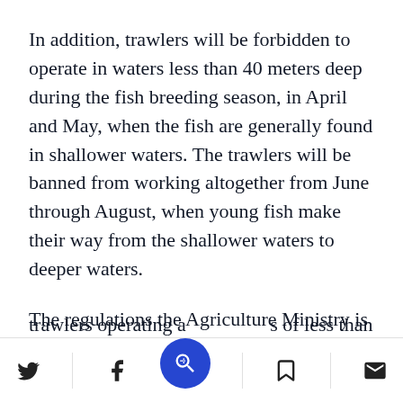In addition, trawlers will be forbidden to operate in waters less than 40 meters deep during the fish breeding season, in April and May, when the fish are generally found in shallower waters. The trawlers will be banned from working altogether from June through August, when young fish make their way from the shallower waters to deeper waters.
The regulations the Agriculture Ministry is seeking to get approved will impose additional restrictions, including a permanent ban on trawlers operating a...s of less than 40